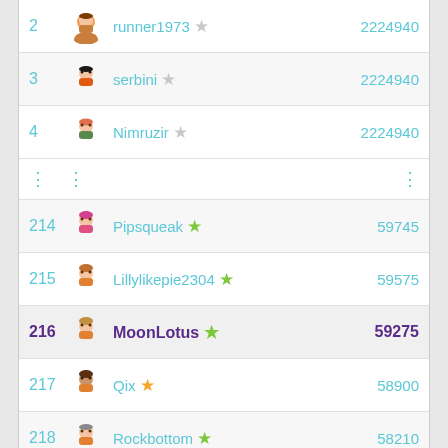| Rank | Avatar | Username | Score |
| --- | --- | --- | --- |
| 2 |  | runner1973 ☆ | 2224940 |
| 3 |  | serbini ☆ | 2224940 |
| 4 |  | Nimruzir ☆ | 2224940 |
| ... |  | ... | ... |
| 214 |  | Pipsqueak ★ | 59745 |
| 215 |  | Lillylikepie2304 ★ | 59575 |
| 216 |  | MoonLotus ★ | 59275 |
| 217 |  | Qix ★ | 58900 |
| 218 |  | Rockbottom ★ | 58210 |
View full table